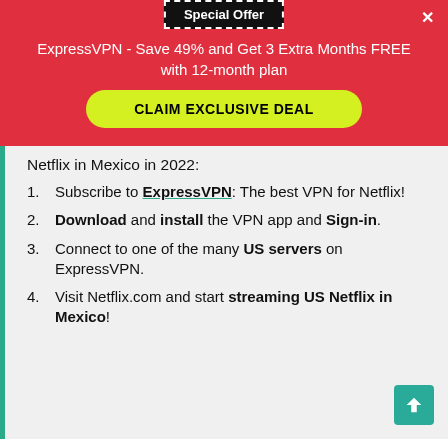Special Offer
ExpressVPN - Save 49% and Get 3 Extra Months FREE with 12-month plan
CLAIM EXCLUSIVE DEAL
Netflix in Mexico in 2022:
Subscribe to ExpressVPN: The best VPN for Netflix!
Download and install the VPN app and Sign-in.
Connect to one of the many US servers on ExpressVPN.
Visit Netflix.com and start streaming US Netflix in Mexico!